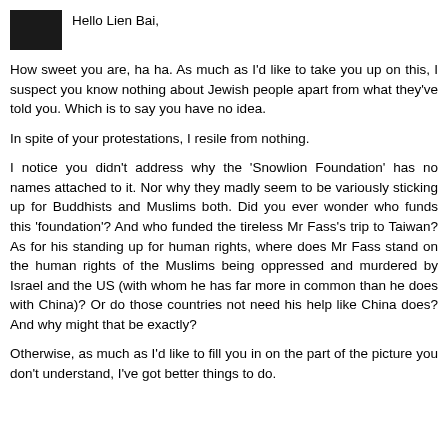Hello Lien Bai,
How sweet you are, ha ha. As much as I'd like to take you up on this, I suspect you know nothing about Jewish people apart from what they've told you. Which is to say you have no idea.
In spite of your protestations, I resile from nothing.
I notice you didn't address why the 'Snowlion Foundation' has no names attached to it. Nor why they madly seem to be variously sticking up for Buddhists and Muslims both. Did you ever wonder who funds this 'foundation'? And who funded the tireless Mr Fass's trip to Taiwan? As for his standing up for human rights, where does Mr Fass stand on the human rights of the Muslims being oppressed and murdered by Israel and the US (with whom he has far more in common than he does with China)? Or do those countries not need his help like China does? And why might that be exactly?
Otherwise, as much as I'd like to fill you in on the part of the picture you don't understand, I've got better things to do.